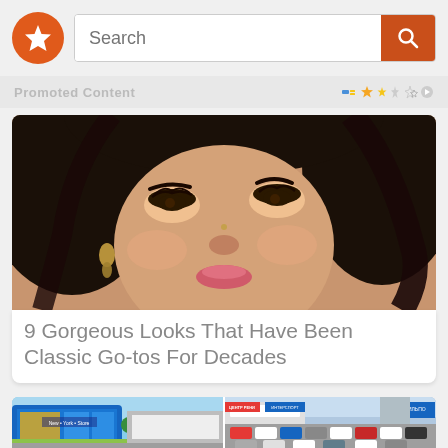[Figure (screenshot): App top bar with orange star logo and search bar with orange search button]
Promoted content
[Figure (photo): Close-up portrait of a young Asian woman with dark hair, winged eyeliner, and pink makeup]
9 Gorgeous Looks That Have Been Classic Go-tos For Decades
[Figure (photo): Two shopping mall / retail center exterior photos side by side]